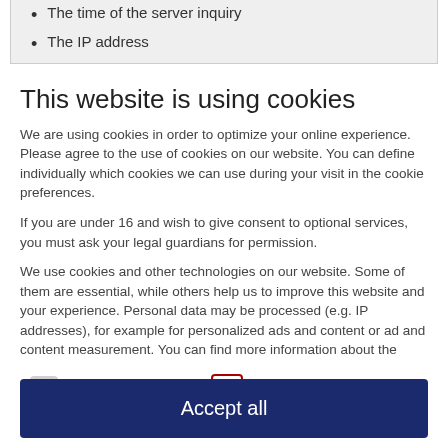The time of the server inquiry
The IP address
This website is using cookies
We are using cookies in order to optimize your online experience. Please agree to the use of cookies on our website. You can define individually which cookies we can use during your visit in the cookie preferences.
If you are under 16 and wish to give consent to optional services, you must ask your legal guardians for permission.
We use cookies and other technologies on our website. Some of them are essential, while others help us to improve this website and your experience. Personal data may be processed (e.g. IP addresses), for example for personalized ads and content or ad and content measurement. You can find more information about the
ESSENTIAL
STATISTICS
Accept all